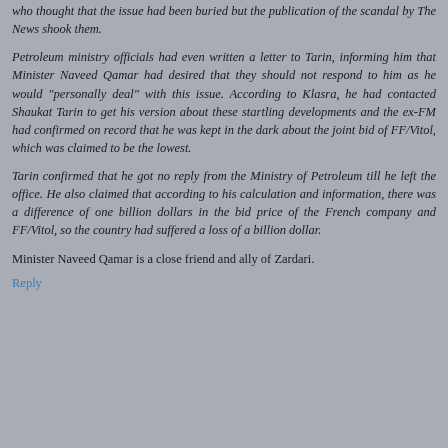who thought that the issue had been buried but the publication of the scandal by The News shook them.
Petroleum ministry officials had even written a letter to Tarin, informing him that Minister Naveed Qamar had desired that they should not respond to him as he would "personally deal" with this issue. According to Klasra, he had contacted Shaukat Tarin to get his version about these startling developments and the ex-FM had confirmed on record that he was kept in the dark about the joint bid of FF/Vitol, which was claimed to be the lowest.
Tarin confirmed that he got no reply from the Ministry of Petroleum till he left the office. He also claimed that according to his calculation and information, there was a difference of one billion dollars in the bid price of the French company and FF/Vitol, so the country had suffered a loss of a billion dollar.
Minister Naveed Qamar is a close friend and ally of Zardari.
Reply